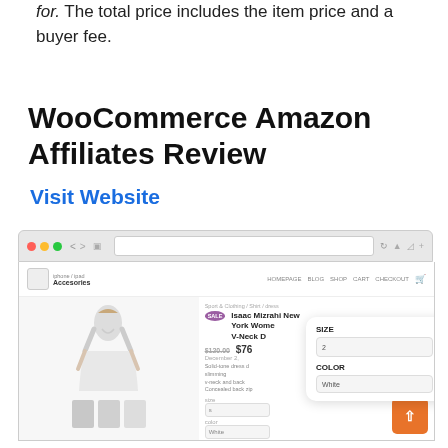for. The total price includes the item price and a buyer fee.
WooCommerce Amazon Affiliates Review
Visit Website
[Figure (screenshot): Screenshot of a WooCommerce Amazon Affiliates website showing a product page for an Isaac Mizrahi New York Women's V-Neck Dress, with a size and color selection popup panel visible on the right side.]